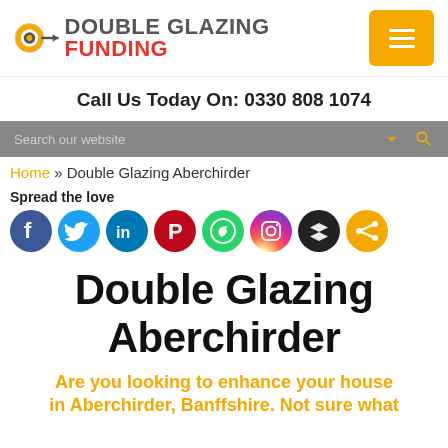[Figure (logo): Double Glazing Funding logo with circular icon and text]
Call Us Today On: 0330 808 1074
Search our website
Home » Double Glazing Aberchirder
Spread the love
[Figure (illustration): Social media icons: Facebook, Twitter, LinkedIn, Pinterest, WhatsApp, Instagram, Buffer, Share]
Double Glazing Aberchirder
Are you looking to enhance your house in Aberchirder, Banffshire. Not sure what